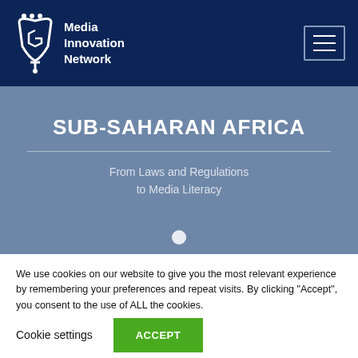[Figure (logo): Media Innovation Network logo with icon on dark navy navigation bar]
SUB-SAHARAN AFRICA
From Laws and Regulations to Media Literacy
We use cookies on our website to give you the most relevant experience by remembering your preferences and repeat visits. By clicking “Accept”, you consent to the use of ALL the cookies.
Cookie settings
ACCEPT